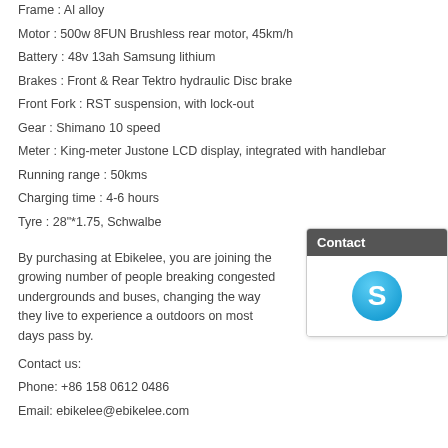Frame : Al alloy
Motor : 500w 8FUN Brushless rear motor, 45km/h
Battery : 48v 13ah Samsung lithium
Brakes : Front & Rear Tektro hydraulic Disc brake
Front Fork : RST suspension, with lock-out
Gear : Shimano 10 speed
Meter : King-meter Justone LCD display, integrated with handlebar
Running range : 50kms
Charging time : 4-6 hours
Tyre : 28"*1.75, Schwalbe
By purchasing at Ebikelee, you are joining the growing number of people breaking congested undergrounds and buses, changing the way they live to experience a outdoors on most days pass by.
[Figure (other): Contact popup with Skype icon]
Contact us:
Phone: +86 158 0612 0486
Email: ebikelee@ebikelee.com